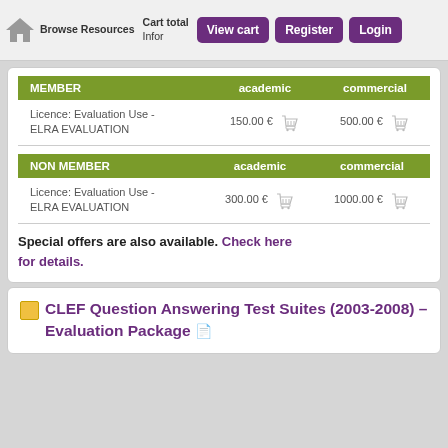Browse Resources  Cart total  Infor  View cart  Register  Login
| MEMBER | academic | commercial |
| --- | --- | --- |
| Licence: Evaluation Use - ELRA EVALUATION | 150.00 €  [cart] | 500.00 €  [cart] |
| NON MEMBER | academic | commercial |
| --- | --- | --- |
| Licence: Evaluation Use - ELRA EVALUATION | 300.00 €  [cart] | 1000.00 €  [cart] |
Special offers are also available. Check here for details.
CLEF Question Answering Test Suites (2003-2008) – Evaluation Package